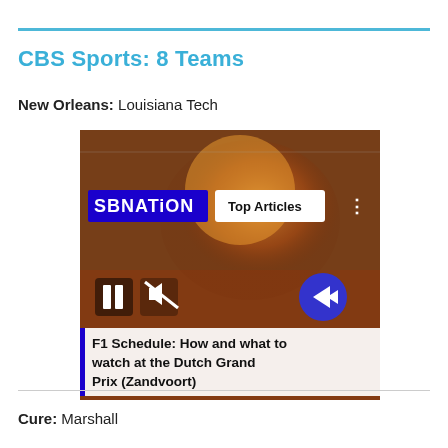CBS Sports: 8 Teams
New Orleans: Louisiana Tech
[Figure (screenshot): Embedded video player from SBNation showing a crowd scene with orange smoke. Overlay shows 'Top Articles' button, pause and mute icons, a blue arrow button, and a video title: 'F1 Schedule: How and what to watch at the Dutch Grand Prix (Zandvoort)']
Cure: Marshall